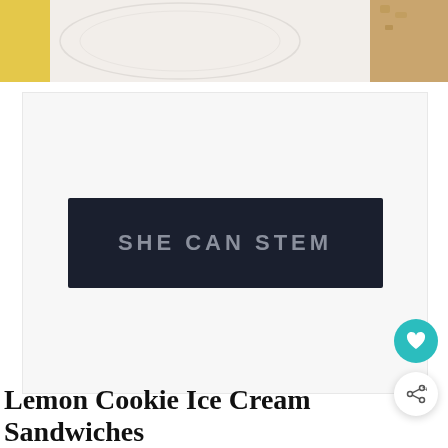[Figure (photo): Top portion of a food photo showing lemon cookie ice cream sandwiches on a white plate with yellow linen, partially cropped at top of page]
[Figure (logo): Advertisement block with dark navy background showing 'SHE CAN STEM' text logo in large gray uppercase letters]
Lemon Cookie Ice Cream Sandwiches